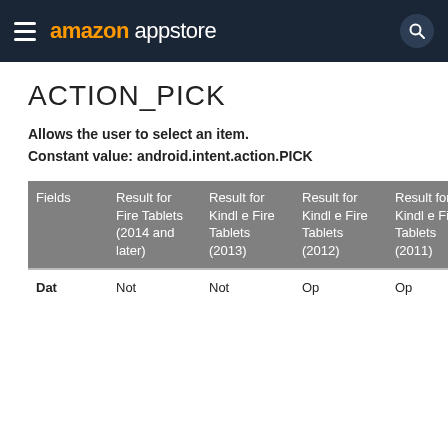amazon appstore
ACTION_PICK
Allows the user to select an item.
Constant value: android.intent.action.PICK
| Fields | Result for Fire Tablets (2014 and later) | Result for Kindle Fire Tablets (2013) | Result for Kindle Fire Tablets (2012) | Result for Kindle Fire Tablets (2011) |
| --- | --- | --- | --- | --- |
| Dat | Not | Not | Op | Op |